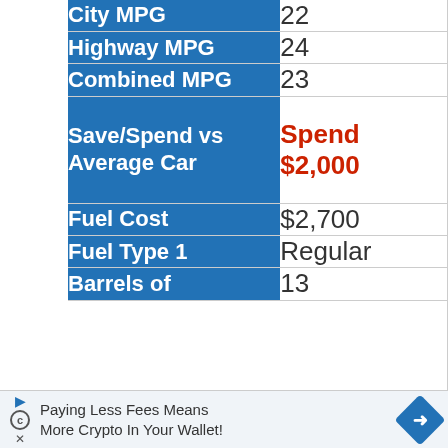| Attribute | Value |
| --- | --- |
| City MPG | 22 |
| Highway MPG | 24 |
| Combined MPG | 23 |
| Save/Spend vs Average Car | Spend $2,000 |
| Fuel Cost | $2,700 |
| Fuel Type 1 | Regular |
| Barrels of | 13 |
Paying Less Fees Means More Crypto In Your Wallet!